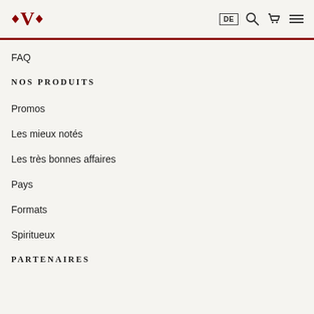•V• DE [search] [cart] [menu]
FAQ
NOS PRODUITS
Promos
Les mieux notés
Les très bonnes affaires
Pays
Formats
Spiritueux
PARTENAIRES